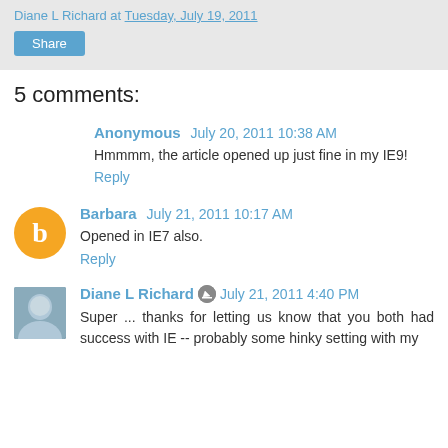Diane L Richard at Tuesday, July 19, 2011
Share
5 comments:
Anonymous  July 20, 2011 10:38 AM
Hmmmm, the article opened up just fine in my IE9!
Reply
Barbara  July 21, 2011 10:17 AM
Opened in IE7 also.
Reply
Diane L Richard  July 21, 2011 4:40 PM
Super ... thanks for letting us know that you both had success with IE -- probably some hinky setting with my